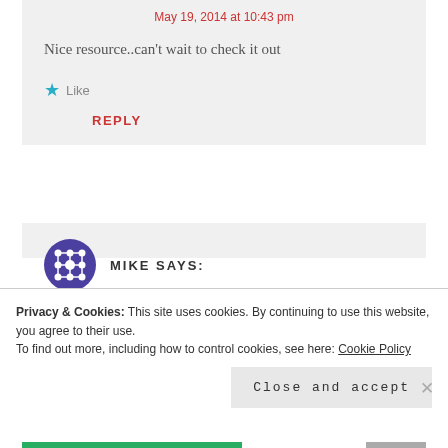May 19, 2014 at 10:43 pm
Nice resource..can't wait to check it out
Like
REPLY
MIKE SAYS:
November 30, 2014 at 6:07 am
Privacy & Cookies: This site uses cookies. By continuing to use this website, you agree to their use.
To find out more, including how to control cookies, see here: Cookie Policy
Close and accept